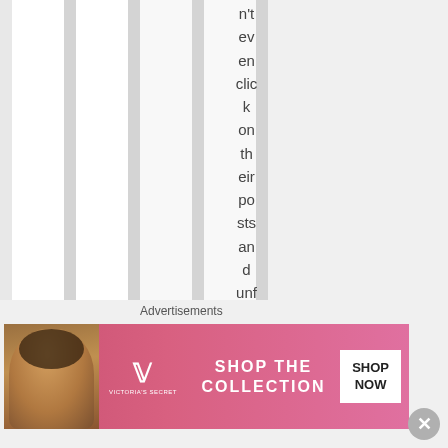n't even click on their posts and unfollow as fas
Advertisements
[Figure (illustration): Victoria's Secret advertisement banner with model, VS logo, 'SHOP THE COLLECTION' text, and 'SHOP NOW' button]